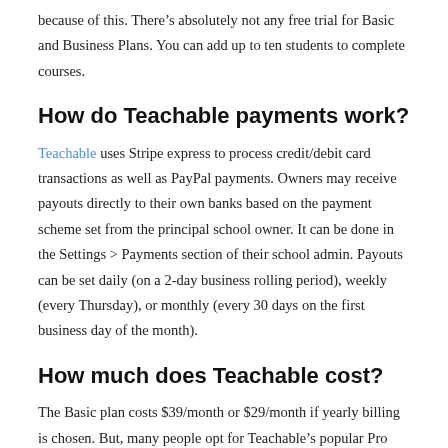because of this. There's absolutely not any free trial for Basic and Business Plans. You can add up to ten students to complete courses.
How do Teachable payments work?
Teachable uses Stripe express to process credit/debit card transactions as well as PayPal payments. Owners may receive payouts directly to their own banks based on the payment scheme set from the principal school owner. It can be done in the Settings > Payments section of their school admin. Payouts can be set daily (on a 2-day business rolling period), weekly (every Thursday), or monthly (every 30 days on the first business day of the month).
How much does Teachable cost?
The Basic plan costs $39/month or $29/month if yearly billing is chosen. But, many people opt for Teachable's popular Pro Plan at